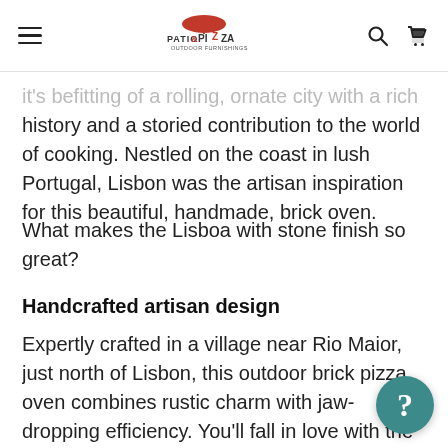Patio & Pizza Outdoor Furnishings
It's befitting of a rolling, ornate city with a rich history and a storied contribution to the world of cooking. Nestled on the coast in lush Portugal, Lisbon was the artisan inspiration for this beautiful, handmade, brick oven.
What makes the Lisboa with stone finish so great?
Handcrafted artisan design
Expertly crafted in a village near Rio Maior, just north of Lisbon, this outdoor brick pizza oven combines rustic charm with jaw-dropping efficiency. You'll fall in love with the way this cooks delicious pizza at unparalleled speeds, without sacrificing its historical styling and